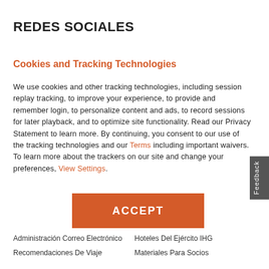REDES SOCIALES
Cookies and Tracking Technologies
We use cookies and other tracking technologies, including session replay tracking, to improve your experience, to provide and remember login, to personalize content and ads, to record sessions for later playback, and to optimize site functionality. Read our Privacy Statement to learn more. By continuing, you consent to our use of the tracking technologies and our Terms including important waivers. To learn more about the trackers on our site and change your preferences, View Settings.
ACCEPT
Administración Correo Electrónico
Hoteles Del Ejército IHG
Recomendaciones De Viaje
Materiales Para Socios